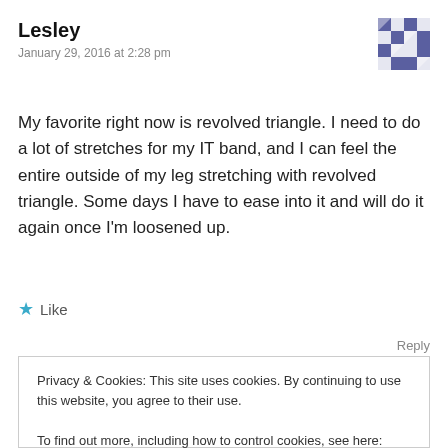Lesley
January 29, 2016 at 2:28 pm
[Figure (other): User avatar with blue/white geometric pattern]
My favorite right now is revolved triangle. I need to do a lot of stretches for my IT band, and I can feel the entire outside of my leg stretching with revolved triangle. Some days I have to ease into it and will do it again once I'm loosened up.
★ Like
Reply
Privacy & Cookies: This site uses cookies. By continuing to use this website, you agree to their use.
To find out more, including how to control cookies, see here: Cookie Policy
Close and accept
should do it more often. Thanks for the reminder.